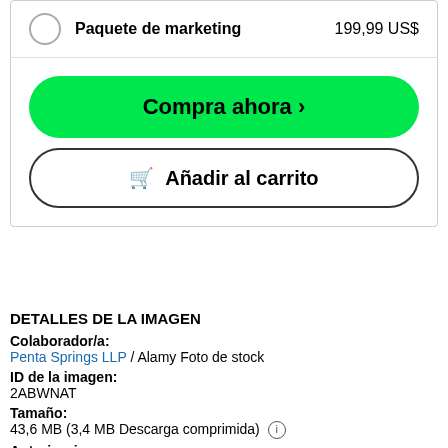Paquete de marketing  199,99 US$
Compra ahora >
🛒 Añadir al carrito
DETALLES DE LA IMAGEN
Colaborador/a:
Penta Springs LLP / Alamy Foto de stock
ID de la imagen:
2ABWNAT
Tamaño:
43,6 MB (3,4 MB Descarga comprimida) ℹ
Autorizaciones:
Modelo - no | Propiedad - no  ¿Necesito una autorización?